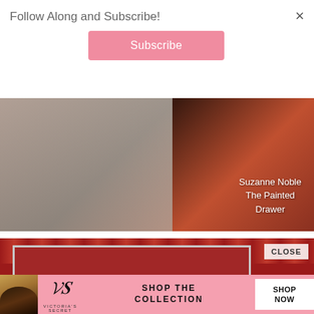×
Follow Along and Subscribe!
Subscribe
[Figure (photo): Close-up photo of a dark wooden drawer or furniture piece against a gray textured wall, with text overlay reading 'Suzanne Noble The Painted Drawer']
[Figure (photo): Photo of a red floral patterned fabric or wallpaper with a framed mirror or picture, showing 'Suzanne Bagheri The Painted Drawer' text, and a CLOSE button overlay]
[Figure (photo): Victoria's Secret advertisement banner with model photo, VS logo, 'SHOP THE COLLECTION' text, and 'SHOP NOW' button]